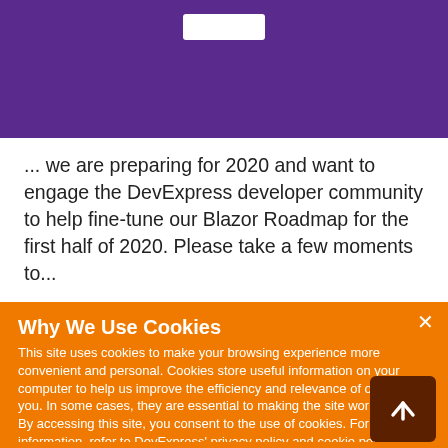[Figure (screenshot): Purple banner at top of page with a white button/element]
... we are preparing for 2020 and want to engage the DevExpress developer community to help fine-tune our Blazor Roadmap for the first half of 2020. Please take a few moments to...
Mehul Harry (DevExpress)
7 November 2019
Why We Use Cookies
This site uses cookies to make your browsing experience more convenient and personal. Cookies store useful information on your computer to help us improve the efficiency and relevance of our site for you. In some cases, they are essential to making the site work properly. By accessing this site, you consent to the use of cookies. For more information, refer to DevExpress' privacy policy and cookie policy.
I UNDERSTAND